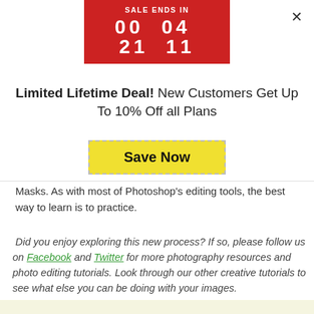[Figure (other): Sale countdown banner in red: SALE ENDS IN 00 04 21 11]
Limited Lifetime Deal! New Customers Get Up To 10% Off all Plans
[Figure (other): Yellow dashed-border button with text: Save Now]
Masks. As with most of Photoshop's editing tools, the best way to learn is to practice.
Did you enjoy exploring this new process? If so, please follow us on Facebook and Twitter for more photography resources and photo editing tutorials. Look through our other creative tutorials to see what else you can be doing with your images.
[Figure (other): Social share buttons: Facebook 0, Twitter 0, LinkedIn 0, Pinterest 0, Share 0]